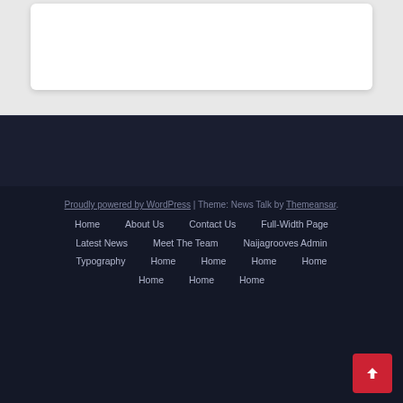[Figure (screenshot): White card on light gray background, top section of a webpage]
Proudly powered by WordPress | Theme: News Talk by Themeansar.
Home  About Us  Contact Us  Full-Width Page
Latest News  Meet The Team  Naijagrooves Admin
Typography  Home  Home  Home  Home
Home  Home  Home